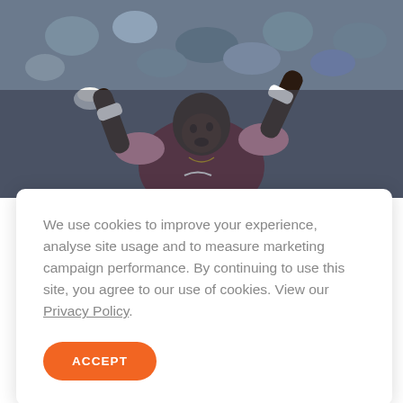[Figure (photo): A tennis player wearing a dark maroon and pink Nike outfit celebrating with arms raised, looking upward. A crowd is visible in the background.]
We use cookies to improve your experience, analyse site usage and to measure marketing campaign performance. By continuing to use this site, you agree to our use of cookies. View our Privacy Policy.
ACCEPT
Hinnamnor hits South Korea